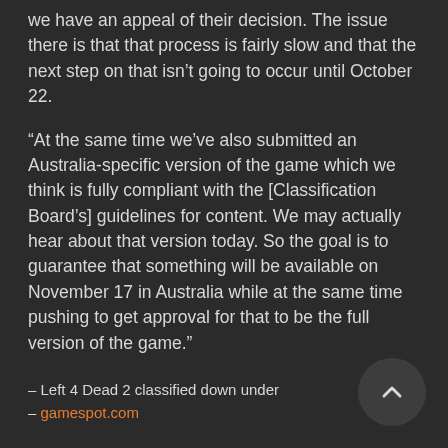we have an appeal of their decision. The issue there is that that process is fairly slow and that the next step on that isn't going to occur until October 22.
“At the same time we’ve also submitted an Australia-specific version of the game which we think is fully compliant with the [Classification Board’s] guidelines for content. We may actually hear about that version today. So the goal is to guarantee that something will be available on November 17 in Australia while at the same time pushing to get approval for that to be the full version of the game.”
– Left 4 Dead 2 classified down under
– gamespot.com